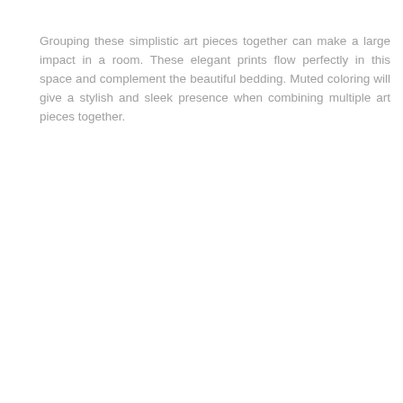Grouping these simplistic art pieces together can make a large impact in a room. These elegant prints flow perfectly in this space and complement the beautiful bedding. Muted coloring will give a stylish and sleek presence when combining multiple art pieces together.